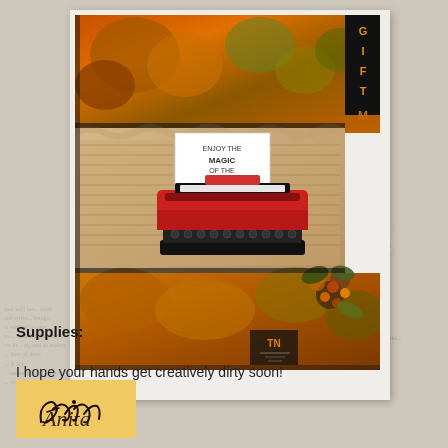[Figure (photo): Autumn/fall themed handmade craft card or art journal page featuring a red vintage typewriter cutout on layered collage papers with orange, gold, brown autumn colors, leaves, flowers, and a small note card reading 'enjoy the magic of the season'. The piece is mounted on a white card mat against a light gray/beige wood-grain background with faded vintage text overlays.]
Supplies:
I hope your hands get creatively dirty soon!
[Figure (illustration): Handwritten script signature 'Anita' on a golden yellow rectangular background label]